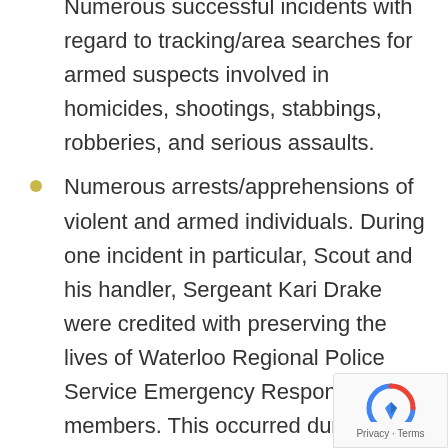Numerous successful incidents with regard to tracking/area searches for armed suspects involved in homicides, shootings, stabbings, robberies, and serious assaults.
Numerous arrests/apprehensions of violent and armed individuals. During one incident in particular, Scout and his handler, Sergeant Kari Drake were credited with preserving the lives of Waterloo Regional Police Service Emergency Response Unit members. This occurred during a search for an armed homicide suspect with a shot for...